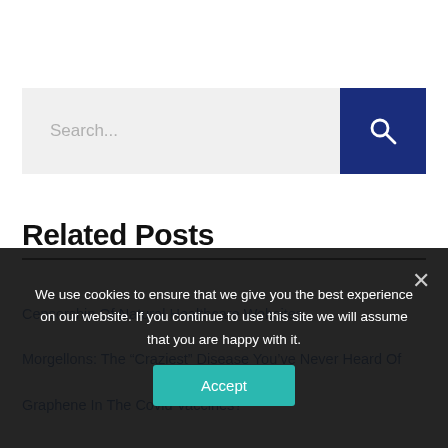[Figure (screenshot): Search bar with text input field and dark blue search button with magnifying glass icon]
Related Posts
Censorship Of Natural Healthcare Websites
Morgellons: The “Craziest” Disease You’ve Never Heard Of
Graphene In The Covid Vaccines?
We use cookies to ensure that we give you the best experience on our website. If you continue to use this site we will assume that you are happy with it.